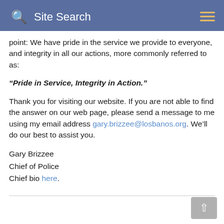Site Search
point: We have pride in the service we provide to everyone, and integrity in all our actions, more commonly referred to as:
“Pride in Service, Integrity in Action.”
Thank you for visiting our website. If you are not able to find the answer on our web page, please send a message to me using my email address gary.brizzee@losbanos.org. We’ll do our best to assist you.
Gary Brizzee
Chief of Police
Chief bio here.